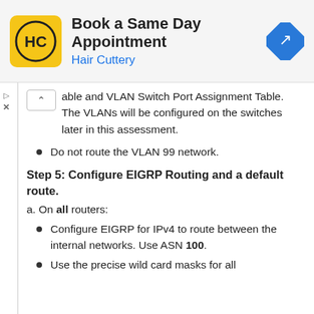[Figure (other): Hair Cuttery advertisement banner: logo (HC in yellow circle), text 'Book a Same Day Appointment / Hair Cuttery', blue navigation arrow icon]
able and VLAN Switch Port Assignment Table. The VLANs will be configured on the switches later in this assessment.
Do not route the VLAN 99 network.
Step 5: Configure EIGRP Routing and a default route.
a. On all routers:
Configure EIGRP for IPv4 to route between the internal networks. Use ASN 100.
Use the precise wild card masks for all